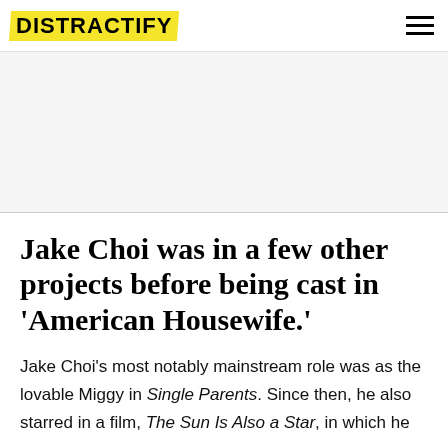DISTRACTIFY
[Figure (other): Advertisement placeholder area with light gray background]
Jake Choi was in a few other projects before being cast in 'American Housewife.'
Jake Choi's most notably mainstream role was as the lovable Miggy in Single Parents. Since then, he also starred in a film, The Sun Is Also a Star, in which he